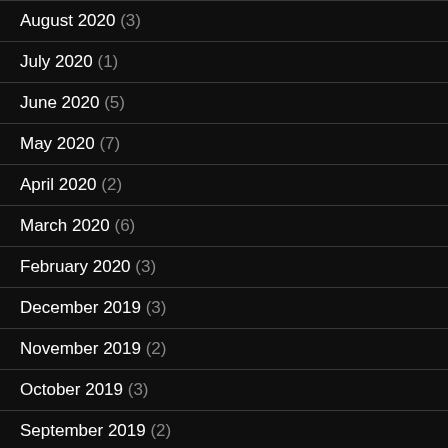August 2020 (3)
July 2020 (1)
June 2020 (5)
May 2020 (7)
April 2020 (2)
March 2020 (6)
February 2020 (3)
December 2019 (3)
November 2019 (2)
October 2019 (3)
September 2019 (2)
August 2019 (4)
July 2019 (5)